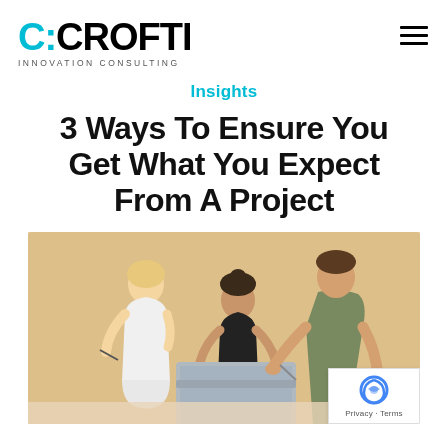C:CROFTI INNOVATION CONSULTING
Insights
3 Ways To Ensure You Get What You Expect From A Project
[Figure (photo): Three people collaborating around a laptop — a blonde woman in white sleeveless top, a dark-haired woman seated in black top, and a man in olive green shirt leaning over, all against a warm beige background.]